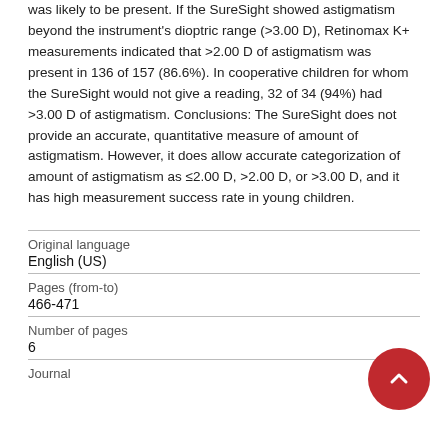was likely to be present. If the SureSight showed astigmatism beyond the instrument's dioptric range (>3.00 D), Retinomax K+ measurements indicated that >2.00 D of astigmatism was present in 136 of 157 (86.6%). In cooperative children for whom the SureSight would not give a reading, 32 of 34 (94%) had >3.00 D of astigmatism. Conclusions: The SureSight does not provide an accurate, quantitative measure of amount of astigmatism. However, it does allow accurate categorization of amount of astigmatism as ≤2.00 D, >2.00 D, or >3.00 D, and it has high measurement success rate in young children.
| Field | Value |
| --- | --- |
| Original language | English (US) |
| Pages (from-to) | 466-471 |
| Number of pages | 6 |
| Journal |  |